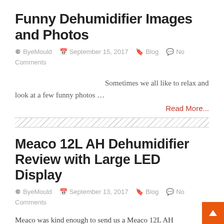Funny Dehumidifier Images and Photos
ByeMould   September 15, 2017   Blog   No Comments
Sometimes we all like to relax and look at a few funny photos …
Read More...
Meaco 12L AH Dehumidifier Review with Large LED Display
ByeMould   September 13, 2017   Blog   No Comments
Meaco was kind enough to send us a Meaco 12L AH